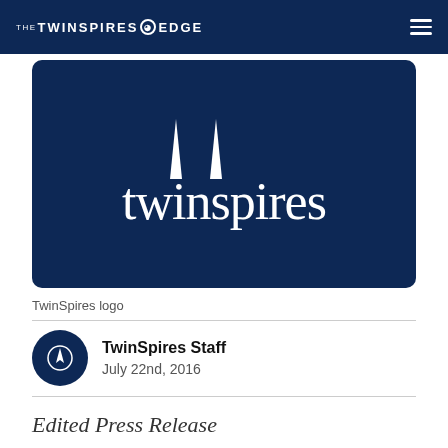THE TWINSPIRES EDGE
[Figure (logo): TwinSpires logo on dark navy blue background with twin spires icon above the word 'twinspires' in white lowercase letters]
TwinSpires logo
TwinSpires Staff
July 22nd, 2016
Edited Press Release